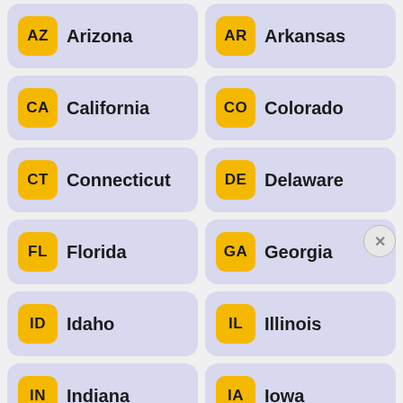AZ Arizona
AR Arkansas
CA California
CO Colorado
CT Connecticut
DE Delaware
FL Florida
GA Georgia
ID Idaho
IL Illinois
IN Indiana
IA Iowa
[Figure (screenshot): Hulu Disney+ ESPN+ GET THE DISNEY BUNDLE advertisement banner. Incl. Hulu (ad-supported) or Hulu (No Ads). Access content from each service separately. ©2021 Disney and its related entities.]
KS
LA Louisiana
ME Maine